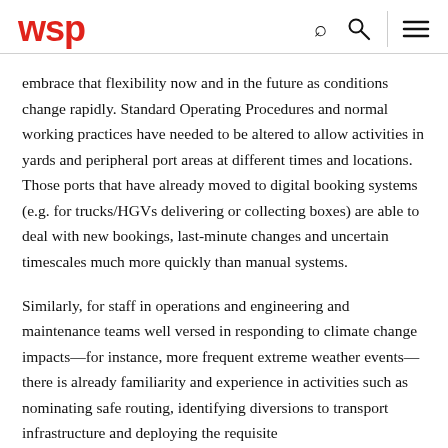wsp
embrace that flexibility now and in the future as conditions change rapidly. Standard Operating Procedures and normal working practices have needed to be altered to allow activities in yards and peripheral port areas at different times and locations. Those ports that have already moved to digital booking systems (e.g. for trucks/HGVs delivering or collecting boxes) are able to deal with new bookings, last-minute changes and uncertain timescales much more quickly than manual systems.
Similarly, for staff in operations and engineering and maintenance teams well versed in responding to climate change impacts—for instance, more frequent extreme weather events—there is already familiarity and experience in activities such as nominating safe routing, identifying diversions to transport infrastructure and deploying the requisite